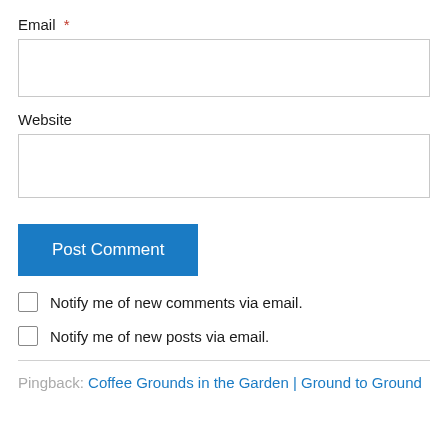Email *
Website
Post Comment
Notify me of new comments via email.
Notify me of new posts via email.
Pingback: Coffee Grounds in the Garden | Ground to Ground